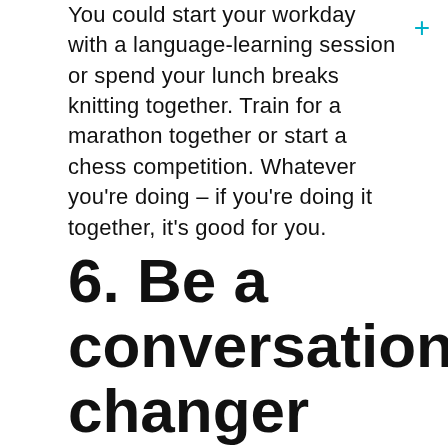You could start your workday with a language-learning session or spend your lunch breaks knitting together. Train for a marathon together or start a chess competition. Whatever you're doing – if you're doing it together, it's good for you.
6. Be a conversation changer